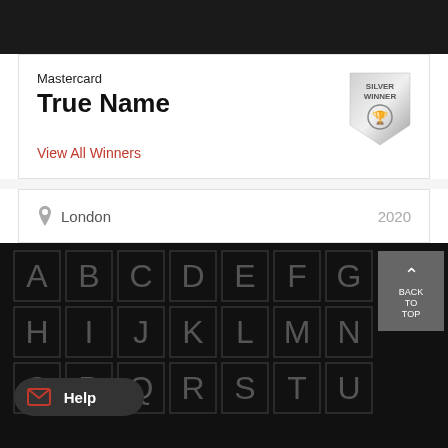Mastercard
True Name
View All Winners
[Figure (illustration): Silver Winner badge/shield with a trophy icon and text SILVER WINNER]
London    2020
[Figure (other): Alphabet navigation grid on black background showing letters A through U arranged in rows, with a BACK TO TOP button and a Help button overlay]